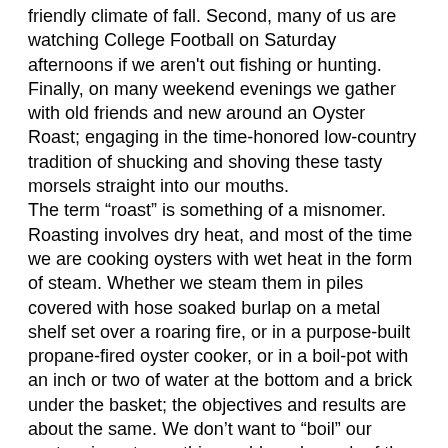friendly climate of fall. Second, many of us are watching College Football on Saturday afternoons if we aren't out fishing or hunting. Finally, on many weekend evenings we gather with old friends and new around an Oyster Roast; engaging in the time-honored low-country tradition of shucking and shoving these tasty morsels straight into our mouths.
The term "roast" is something of a misnomer. Roasting involves dry heat, and most of the time we are cooking oysters with wet heat in the form of steam. Whether we steam them in piles covered with hose soaked burlap on a metal shelf set over a roaring fire, or in a purpose-built propane-fired oyster cooker, or in a boil-pot with an inch or two of water at the bottom and a brick under the basket; the objectives and results are about the same. We don’t want to “boil” our oysters in water as this would wash much of the flavor out of them. Rather we want to cook them gently with steam, over several minutes. Steam keeps them from drying out and reduces shrinkage.
As the shells “pop,” or open slightly thanks to heat and moisture, we dump them in a pile onto the serving tables and